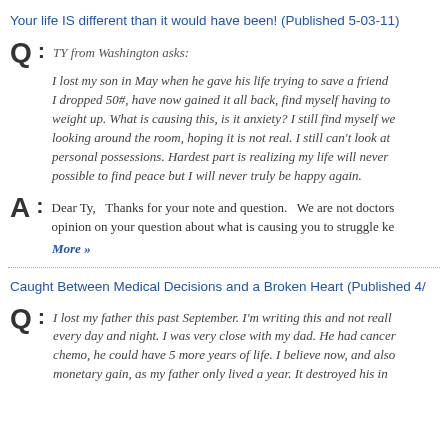Your life IS different than it would have been! (Published 5-03-11)
Q: TY from Washington asks:
I lost my son in May when he gave his life trying to save a friend I dropped 50#, have now gained it all back, find myself having to weight up. What is causing this, is it anxiety? I still find myself we looking around the room, hoping it is not real. I still can't look at personal possessions. Hardest part is realizing my life will never possible to find peace but I will never truly be happy again.
A: Dear Ty,   Thanks for your note and question.   We are not doctors opinion on your question about what is causing you to struggle ke
More »
Caught Between Medical Decisions and a Broken Heart (Published 4/
Q: I lost my father this past September. I'm writing this and not reall every day and night. I was very close with my dad. He had cancer chemo, he could have 5 more years of life. I believe now, and also monetary gain, as my father only lived a year. It destroyed his in